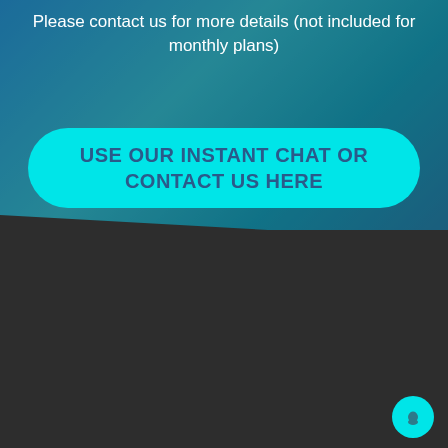Please contact us for more details (not included for monthly plans)
[Figure (other): Cyan rounded rectangle button with text 'USE OUR INSTANT CHAT OR CONTACT US HERE' on a blue/teal background]
CONTACT US
Your Company is unique, and we will make sure you have unique branding so it's important to have a friendly chat with one of our non-pressured team managers who can discuss your needs and make sure we are giving you the best price and product out there in the quickest timeline.